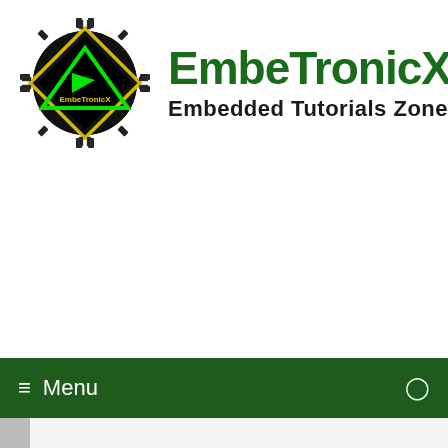[Figure (logo): EmbeTronicX logo: diamond/chip shape with black background, yellow border, green triangle arrow, text EmbeTronicX inside]
EmbeTronicX
Embedded Tutorials Zone
[Figure (screenshot): Dark green navigation bar with hamburger menu icon, Menu text, and search icon. Below is a dropdown with chevron arrow.]